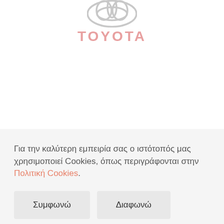[Figure (logo): Toyota logo emblem (oval rings, light gray) above the word TOYOTA in pink/salmon bold letters]
Για την καλύτερη εμπειρία σας ο ιστότοπός μας χρησιμοποιεί Cookies, όπως περιγράφονται στην Πολιτική Cookies.
Συμφωνώ
Διαφωνώ